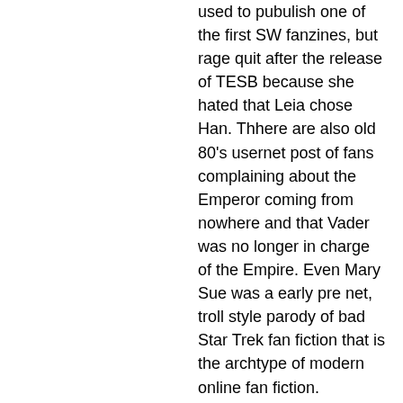used to pubulish one of the first SW fanzines, but rage quit after the release of TESB because she hated that Leia chose Han. Thhere are also old 80's usernet post of fans complaining about the Emperor coming from nowhere and that Vader was no longer in charge of the Empire. Even Mary Sue was a early pre net, troll style parody of bad Star Trek fan fiction that is the archtype of modern online fan fiction. Nowadays, the net acts like a megaphone for such exploit and views, broadcasting, amplifying, and enhancing fan toxicity. So if marketers use